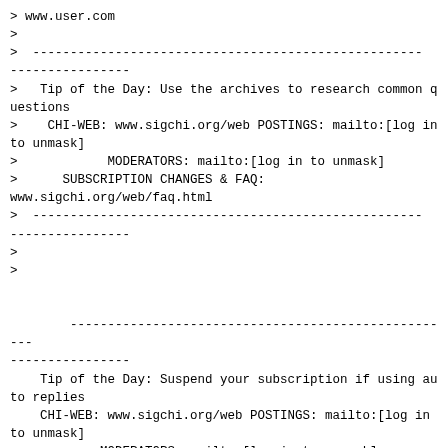> www.user.com
>
>  ----------------------------------------------------
----------------
>   Tip of the Day: Use the archives to research common questions
>    CHI-WEB: www.sigchi.org/web POSTINGS: mailto:[log in to unmask]
>            MODERATORS: mailto:[log in to unmask]
>      SUBSCRIPTION CHANGES & FAQ: www.sigchi.org/web/faq.html
>  ----------------------------------------------------
----------------
>
>

        ----------------------------------------------------
----------------
    Tip of the Day: Suspend your subscription if using auto replies
    CHI-WEB: www.sigchi.org/web POSTINGS: mailto:[log in to unmask]
            MODERATORS: mailto:[log in to unmask]
    SUBSCRIPTION CHANGES & FAQ: www.sigchi.org/web/faq.html
        ----------------------------------------------------
----------------